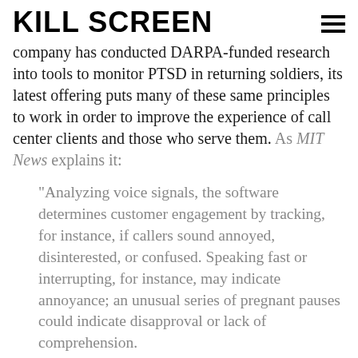KILL SCREEN
company has conducted DARPA-funded research into tools to monitor PTSD in returning soldiers, its latest offering puts many of these same principles to work in order to improve the experience of call center clients and those who serve them. As MIT News explains it:
“Analyzing voice signals, the software determines customer engagement by tracking, for instance, if callers sound annoyed, disinterested, or confused. Speaking fast or interrupting, for instance, may indicate annoyance; an unusual series of pregnant pauses could indicate disapproval or lack of comprehension.